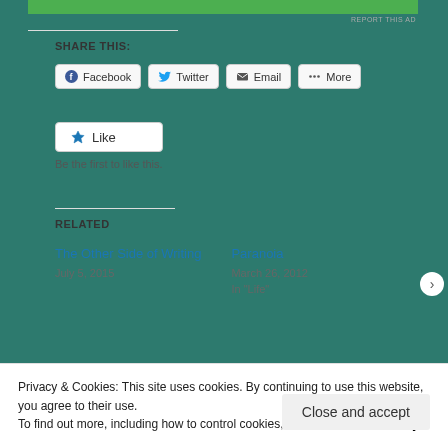[Figure (screenshot): Green banner ad at top of page]
SHARE THIS:
[Figure (screenshot): Social share buttons: Facebook, Twitter, Email, More]
[Figure (screenshot): Like button with star icon]
Be the first to like this.
RELATED
The Other Side of Writing
July 5, 2015
Paranoia
March 26, 2012
In "Life"
Privacy & Cookies: This site uses cookies. By continuing to use this website, you agree to their use.
To find out more, including how to control cookies, see here: Cookie Policy